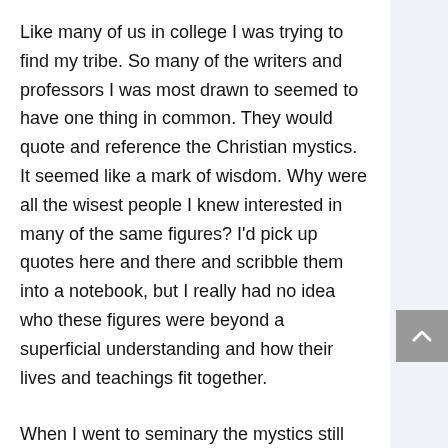Like many of us in college I was trying to find my tribe. So many of the writers and professors I was most drawn to seemed to have one thing in common. They would quote and reference the Christian mystics. It seemed like a mark of wisdom. Why were all the wisest people I knew interested in many of the same figures? I'd pick up quotes here and there and scribble them into a notebook, but I really had no idea who these figures were beyond a superficial understanding and how their lives and teachings fit together.
When I went to seminary the mystics still called to me. I took whatever classes and projects I could to immerse myself in their lives and teachings. Years later, after becoming a long-time contemplative practitioner and experiencing some of the...